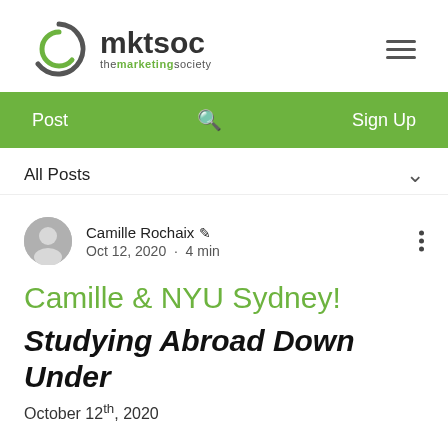[Figure (logo): mktsoc - the marketing society logo with circular green/gray swoosh icon]
Post   🔍   Sign Up
All Posts
Camille Rochaix ✏  Oct 12, 2020 · 4 min
Camille & NYU Sydney!
Studying Abroad Down Under
October 12th, 2020